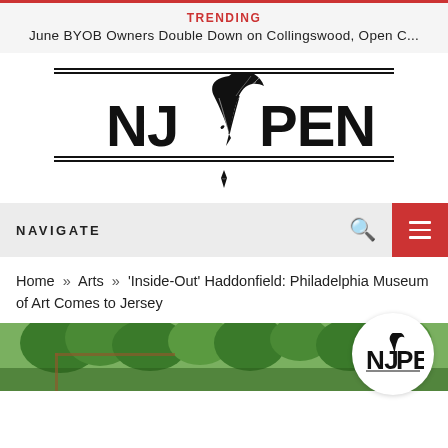TRENDING
June BYOB Owners Double Down on Collingswood, Open C...
[Figure (logo): NJ Pen logo with quill pen icon between NJ and PEN text, flanked by horizontal double lines above and below]
NAVIGATE
Home » Arts » 'Inside-Out' Haddonfield: Philadelphia Museum of Art Comes to Jersey
[Figure (photo): Outdoor photograph showing green trees and what appears to be framed artwork or a display structure]
[Figure (logo): NJ Pen watermark logo in white circle, bottom right]